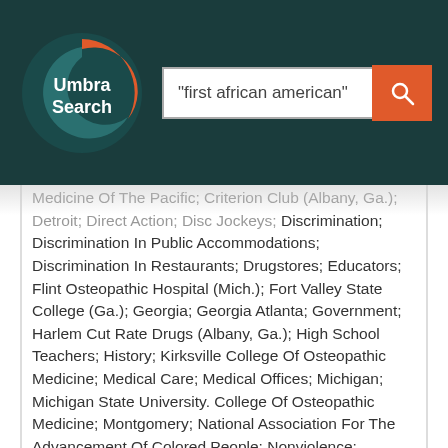[Figure (logo): Umbra Search logo — circular logo with teal and orange crescent shapes and white text 'Umbra Search']
"first african american"
Medicine Of The Pacific; Criterion Club (Albany, Ga.); Detroit; Direct Action; Disc Jockeys; Discrimination; Discrimination In Public Accommodations; Discrimination In Restaurants; Drugstores; Educators; Flint Osteopathic Hospital (Mich.); Fort Valley State College (Ga.); Georgia; Georgia Atlanta; Government; Harlem Cut Rate Drugs (Albany, Ga.); High School Teachers; History; Kirksville College Of Osteopathic Medicine; Medical Care; Medical Offices; Michigan; Michigan State University. College Of Osteopathic Medicine; Montgomery; National Association For The Advancement Of Colored People; Nonviolence; Osteopathic Physicians; Philippines; Physicians; Political Activists; Political Participation; Politics And Government; Professional Employees; Protest Marches; Race Discrimination; Race